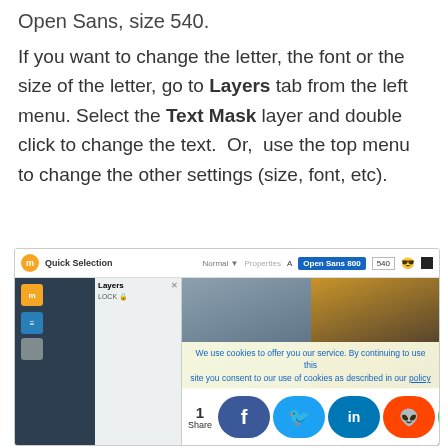Open Sans, size 540.
If you want to change the letter, the font or the size of the letter, go to Layers tab from the left menu. Select the Text Mask layer and double click to change the text.  Or,  use the top menu to change the other settings (size, font, etc).
[Figure (screenshot): Screenshot of a photo editing application showing Quick Selection panel, Layers panel with a lock icon, Open Sans 800 font selected at size 540, emoji and color controls in top bar, and two portrait photos in the main canvas area. A cookie consent banner overlays the bottom portion. Social share buttons (Facebook, Twitter, LinkedIn, Reddit, WhatsApp, More) appear at the very bottom with a share count of 1.]